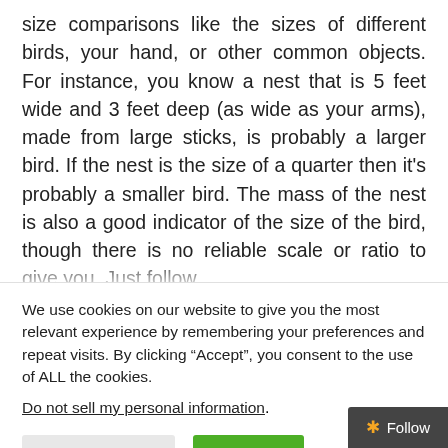size comparisons like the sizes of different birds, your hand, or other common objects. For instance, you know a nest that is 5 feet wide and 3 feet deep (as wide as your arms), made from large sticks, is probably a larger bird. If the nest is the size of a quarter then it's probably a smaller bird. The mass of the nest is also a good indicator of the size of the bird, though there is no reliable scale or ratio to give you. Just follow
We use cookies on our website to give you the most relevant experience by remembering your preferences and repeat visits. By clicking “Accept”, you consent to the use of ALL the cookies.
Do not sell my personal information.